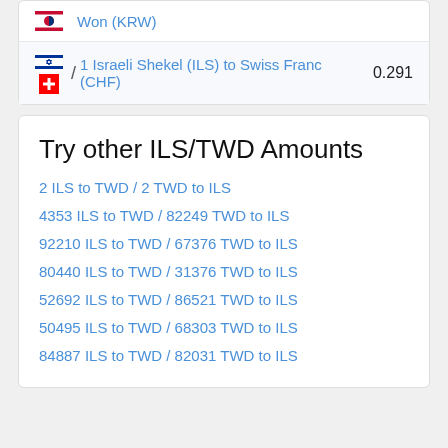| Flag | Currency | Rate |
| --- | --- | --- |
| 🇰🇷 | Won (KRW) |  |
| 🇮🇱 / 🇨🇭 | 1 Israeli Shekel (ILS) to Swiss Franc (CHF) | 0.291 |
Try other ILS/TWD Amounts
2 ILS to TWD / 2 TWD to ILS
4353 ILS to TWD / 82249 TWD to ILS
92210 ILS to TWD / 67376 TWD to ILS
80440 ILS to TWD / 31376 TWD to ILS
52692 ILS to TWD / 86521 TWD to ILS
50495 ILS to TWD / 68303 TWD to ILS
84887 ILS to TWD / 82031 TWD to ILS